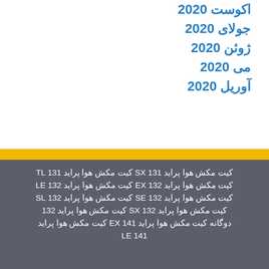اکوست 2020
جولای 2020
ژوئن 2020
می 2020
آوریل 2020
پراید 131 SX کیت مکش هوا پراید 131 TL کیت مکش هوا
پراید 132 EX کیت مکش هوا پراید 132 LE کیت مکش هوا
پراید 132 SE کیت مکش هوا پراید 132 SL کیت مکش هوا
پراید 132 SX کیت مکش هوا پراید 132 کیت مکش هوا
پراید EX 141 کیت مکش هوا پراید کیت دوگانه کیت مکش هوا LE 141